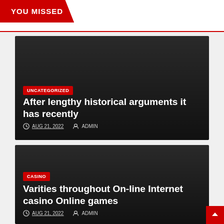YOU MISSED
UNCATEGORIZED
After lengthy historical arguments it has recently
AUG 21, 2022   ADMIN
CASINO
Varities throughout On-line Internet casino Online games
AUG 21, 2022   ADMIN